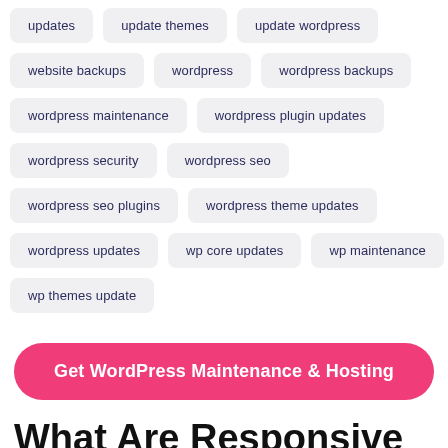updates
update themes
update wordpress
website backups
wordpress
wordpress backups
wordpress maintenance
wordpress plugin updates
wordpress security
wordpress seo
wordpress seo plugins
wordpress theme updates
wordpress updates
wp core updates
wp maintenance
wp themes update
Get WordPress Maintenance & Hosting
What Are Responsive Seek Commercials